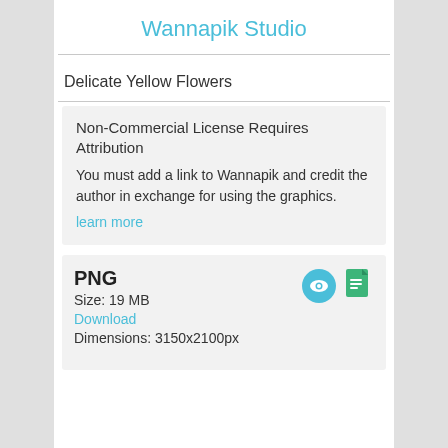Wannapik Studio
Delicate Yellow Flowers
Non-Commercial License Requires Attribution
You must add a link to Wannapik and credit the author in exchange for using the graphics.
learn more
PNG
Size: 19 MB
Download
Dimensions: 3150x2100px